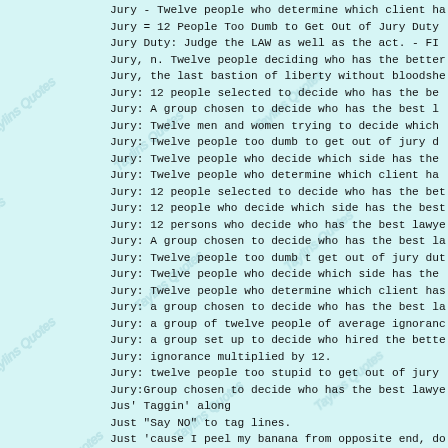Jury - Twelve people who determine which client ha
Jury = 12 People Too Dumb to Get Out of Jury Duty
Jury Duty:  Judge the LAW as well as the act. - FI
Jury, n. Twelve people deciding who has the better
Jury, the last bastion of liberty without bloodshe
Jury:  12 people selected to decide who has the be
Jury:  A group chosen to decide who has the best l
Jury:  Twelve men and women trying to decide which
Jury:  Twelve people too dumb to get out of jury d
Jury:  Twelve people who decide which side has the
Jury:  Twelve people who determine which client ha
Jury: 12 people selected to decide who has the bet
Jury: 12 people who decide which side has the best
Jury: 12 persons who decide who has the best lawye
Jury: A group chosen to decide who has the best la
Jury: Twelve people too dumb t get out of jury dut
Jury: Twelve people who decide which side has the
Jury: Twelve people who determine which client has
Jury: a group chosen to decide who has the best la
Jury: a group of twelve people of average ignoranc
Jury: a group set up to decide who hired the bette
Jury: ignorance multiplied by 12.
Jury: twelve people too stupid to get out of jury
Jury:Group chosen to decide who has the best lawye
Jus' Taggin' along
Just  "Say NO" to tag lines.
Just 'cause I peel my banana from opposite end, do
Just 'cause I remembered one thing doesn't make me
Just 'cause U're paranoid don't mean they're not a
Just 'cause ah'm cute don't mean ah ain't tough.